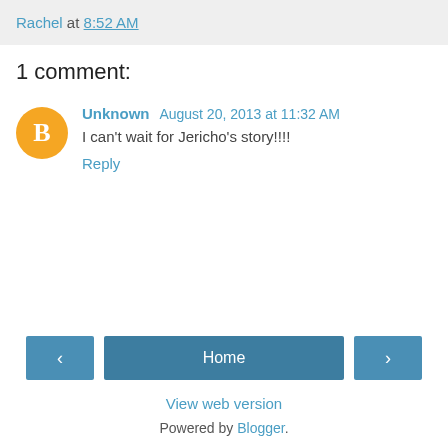Rachel at 8:52 AM
1 comment:
Unknown  August 20, 2013 at 11:32 AM
I can't wait for Jericho's story!!!!
Reply
Home
View web version
Powered by Blogger.